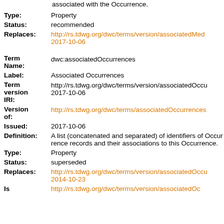associated with the Occurrence.
Type: Property
Status: recommended
Replaces: http://rs.tdwg.org/dwc/terms/version/associatedMed 2017-10-06
Term Name: dwc:associatedOccurrences
Label: Associated Occurrences
Term version IRI: http://rs.tdwg.org/dwc/terms/version/associatedOccu 2017-10-06
Version of: http://rs.tdwg.org/dwc/terms/associatedOccurrences
Issued: 2017-10-06
Definition: A list (concatenated and separated) of identifiers of Occurrence records and their associations to this Occurrence.
Type: Property
Status: superseded
Replaces: http://rs.tdwg.org/dwc/terms/version/associatedOccu 2014-10-23
Is http://rs.tdwg.org/dwc/terms/version/associatedOc